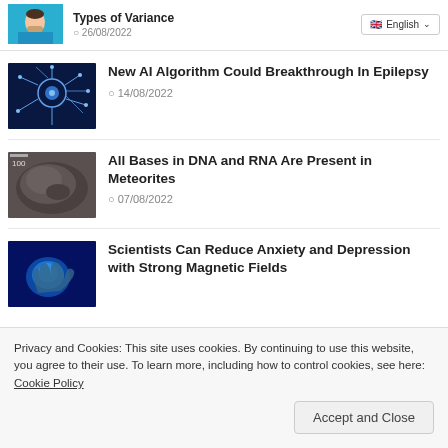[Figure (photo): Thumbnail photo of a person with beard in blue shirt]
Types of Variance
26/08/2022
[Figure (photo): Neural network / AI brain illustration with blue electric connections]
New AI Algorithm Could Breakthrough In Epilepsy
14/08/2022
[Figure (photo): Dark meteorite rock with scale marker]
All Bases in DNA and RNA Are Present in Meteorites
07/08/2022
[Figure (photo): Blue glowing brain with digital interface background]
Scientists Can Reduce Anxiety and Depression with Strong Magnetic Fields
Privacy and Cookies: This site uses cookies. By continuing to use this website, you agree to their use. To learn more, including how to control cookies, see here: Cookie Policy
Accept and Close